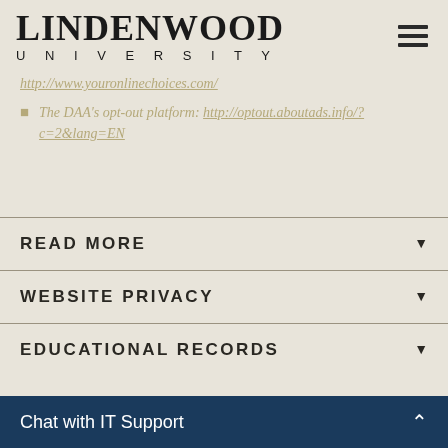LINDENWOOD UNIVERSITY
http://www.youronlinechoices.com/
The DAA's opt-out platform: http://optout.aboutads.info/?c=2&lang=EN
READ MORE
WEBSITE PRIVACY
EDUCATIONAL RECORDS
Chat with IT Support